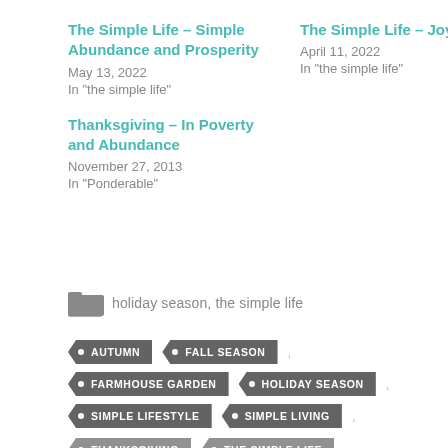The Simple Life – Simple Abundance and Prosperity
May 13, 2022
In "the simple life"
The Simple Life – Joyful Faith
April 11, 2022
In "the simple life"
Thanksgiving – In Poverty and Abundance
November 27, 2013
In "Ponderable"
holiday season, the simple life
AUTUMN
FALL SEASON
FARMHOUSE GARDEN
HOLIDAY SEASON
SIMPLE LIFESTYLE
SIMPLE LIVING
THANKSGIVING
THE SIMPLE LIFE